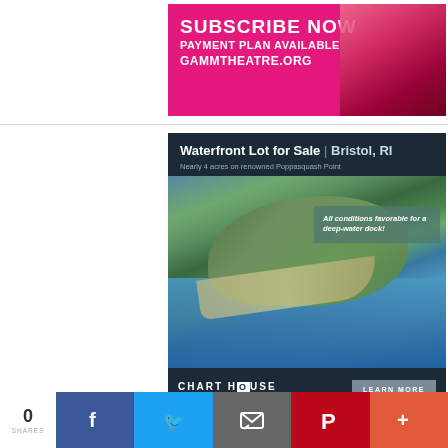[Figure (illustration): Gamm Theatre subscription advertisement - pink/magenta background with text 'SUBSCRIBE NOW', 'PAYMENT PLAN AVAILABLE', 'GAMMTHEATRE.ORG' and a photo of a woman with red hair on the right side]
[Figure (illustration): Chart House Realtors advertisement for Waterfront Lot for Sale in Bristol, RI - dark navy background with headline text, aerial photo of waterfront property at Poppasquash Point, overlay text 'All conditions favorable for a deep-water dock!', Chart House Realtors logo, and LEARN MORE button]
0
SHARES